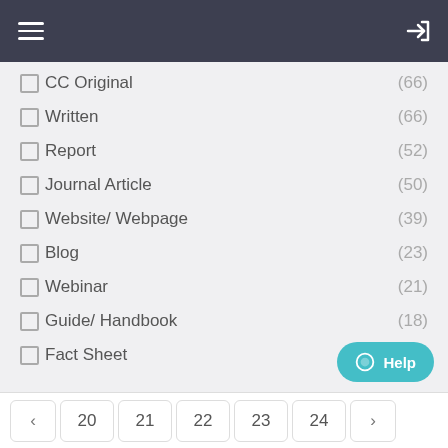Navigation bar with hamburger menu and login icon
☐ CC Original (66)
☐ Written (66)
☐ Report (52)
☐ Journal Article (50)
☐ Website/ Webpage (39)
☐ Blog (23)
☐ Webinar (21)
☐ Guide/ Handbook (18)
☐ Fact Sheet (16)
< 20 21 22 23 24 >